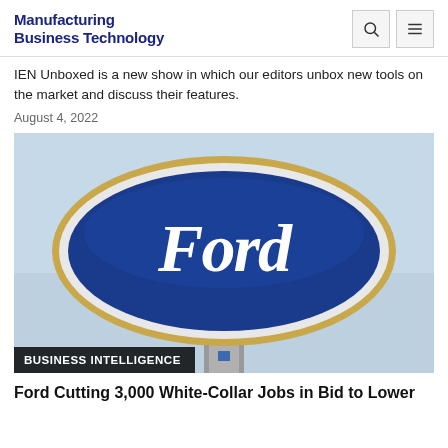Manufacturing Business Technology
IEN Unboxed is a new show in which our editors unbox new tools on the market and discuss their features.
August 4, 2022
[Figure (photo): Ford logo sign on a post against a light sky background, with the word 'Ford' in white script on a blue oval. A dark banner at the bottom reads 'BUSINESS INTELLIGENCE'.]
Ford Cutting 3,000 White-Collar Jobs in Bid to Lower